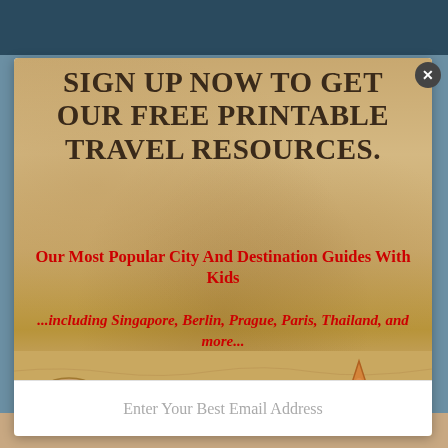[Figure (photo): Ocean/water background at top of page, dark blue-grey water]
[Figure (infographic): Modal popup overlay on sandy beach background with seashells and starfish. Contains sign-up promotional text for free printable travel resources.]
SIGN UP NOW TO GET OUR FREE PRINTABLE TRAVEL RESOURCES.
Our Most Popular City And Destination Guides With Kids
...including Singapore, Berlin, Prague, Paris, Thailand, and more...
Enter Your Best Email Address